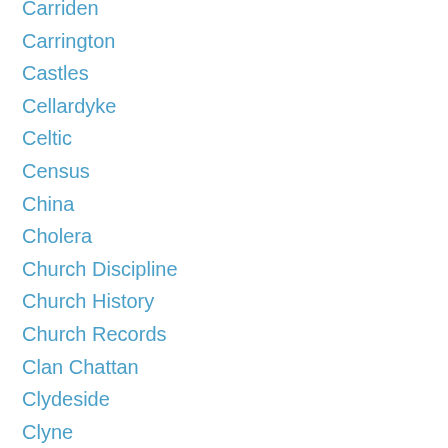Carriden
Carrington
Castles
Cellardyke
Celtic
Census
China
Cholera
Church Discipline
Church History
Church Records
Clan Chattan
Clydeside
Clyne
Coal Mining
Coldstream
Colinton
Communion Rolls
Convicts
Costume History
Counties